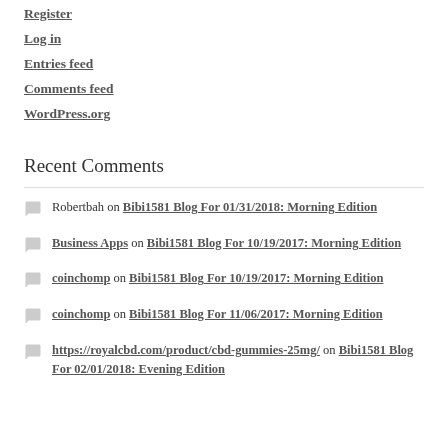Register
Log in
Entries feed
Comments feed
WordPress.org
Recent Comments
Robertbah on Bibi1581 Blog For 01/31/2018: Morning Edition
Business Apps on Bibi1581 Blog For 10/19/2017: Morning Edition
coinchomp on Bibi1581 Blog For 10/19/2017: Morning Edition
coinchomp on Bibi1581 Blog For 11/06/2017: Morning Edition
https://royalcbd.com/product/cbd-gummies-25mg/ on Bibi1581 Blog For 02/01/2018: Evening Edition